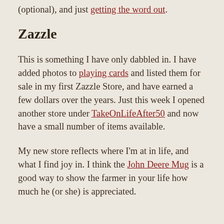(optional), and just getting the word out.
Zazzle
This is something I have only dabbled in. I have added photos to playing cards and listed them for sale in my first Zazzle Store, and have earned a few dollars over the years. Just this week I opened another store under TakeOnLifeAfter50 and now have a small number of items available.
My new store reflects where I'm at in life, and what I find joy in. I think the John Deere Mug is a good way to show the farmer in your life how much he (or she) is appreciated.